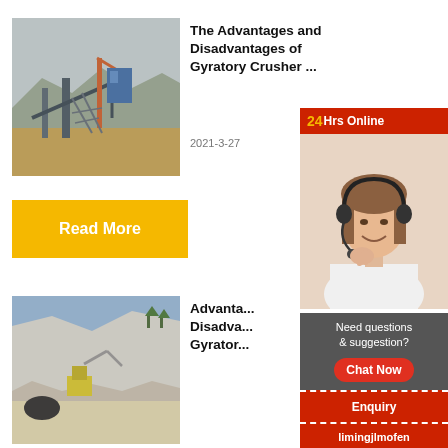[Figure (photo): Mining/crushing plant with heavy machinery and scaffolding against a mountain backdrop]
The Advantages and Disadvantages of Gyratory Crusher ...
2021-3-27
Read More
[Figure (photo): Open quarry/mining site with excavation equipment and rocky terrain]
Advanta... Disadva... Gyrator...
[Figure (infographic): Customer service sidebar with 24Hrs Online banner, lady with headset, Need questions & suggestion text, Chat Now button, Enquiry link, and limingjlmofen text]